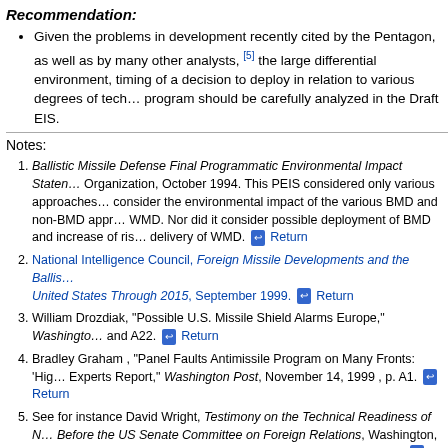Recommendation:
Given the problems in development recently cited by the Pentagon, as well as by many other analysts, [5] the large differential environment, timing of a decision to deploy in relation to various degrees of technological maturity of the program should be carefully analyzed in the Draft EIS.
Notes:
1. Ballistic Missile Defense Final Programmatic Environmental Impact Statement, Ballistic Missile Defense Organization, October 1994. This PEIS considered only various approaches to BMD and did not consider the environmental impact of the various BMD and non-BMD approaches to dealing with WMD. Nor did it consider possible deployment of BMD and increase of risk of proliferation and delivery of WMD. Return
2. National Intelligence Council, Foreign Missile Developments and the Ballistic Missile Threat to the United States Through 2015, September 1999. Return
3. William Drozdiak, "Possible U.S. Missile Shield Alarms Europe," Washington Post, pp. A1 and A22. Return
4. Bradley Graham, "Panel Faults Antimissile Program on Many Fronts: 'High Risk,' Experts Report," Washington Post, November 14, 1999, p. A1. Return
5. See for instance David Wright, Testimony on the Technical Readiness of NMD Before the US Senate Committee on Foreign Relations, Washington, DC, see http://www.fas.org/spp/starwars/congress/1999_h/s106-339-3.htm. Return